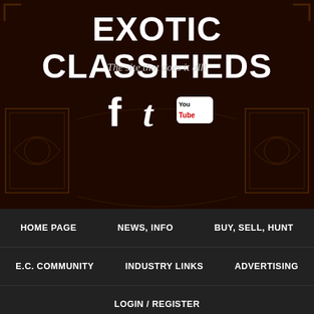EXOTIC CLASSIFIEDS
The site that does it all!
[Figure (infographic): Social media icons: Facebook (f), Twitter (t bird shape), YouTube (You Tube logo)]
HOME PAGE | NEWS, INFO | BUY, SELL, HUNT | E.C. COMMUNITY | INDUSTRY LINKS | ADVERTISING | LOGIN / REGISTER
09. 05. 17
Trump Administration Announces End to DACA
POSTED IN: NATIONAL NEWS, NEWS
0  0  Rate This
NEWS